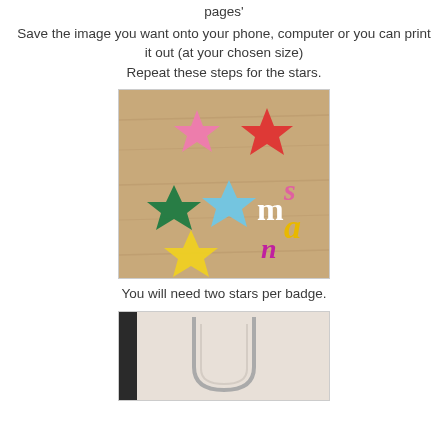pages'
Save the image you want onto your phone, computer or you can print it out (at your chosen size)
Repeat these steps for the stars.
[Figure (photo): Colorful felt stars (pink, red, green, light blue, yellow) arranged on a wooden surface, along with colorful foam/felt letters: white 'm', pink 's', yellow 'a', purple 'n']
You will need two stars per badge.
[Figure (photo): A letter template or stencil on light background, showing the outline of a letter, possibly a 'u' shape, with a dark vertical element on the left]